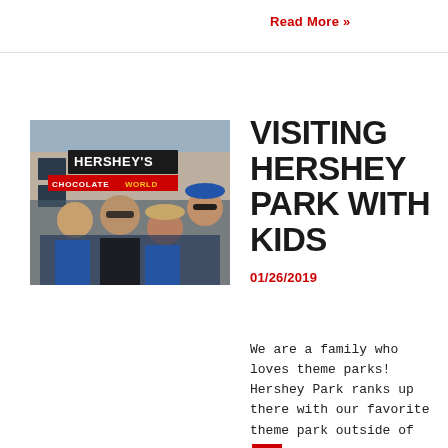Read More »
[Figure (photo): Family photo in front of Hershey's Chocolate World sign]
VISITING HERSHEY PARK WITH KIDS
01/26/2019
We are a family who loves theme parks! Hershey Park ranks up there with our favorite theme park outside of [redacted]